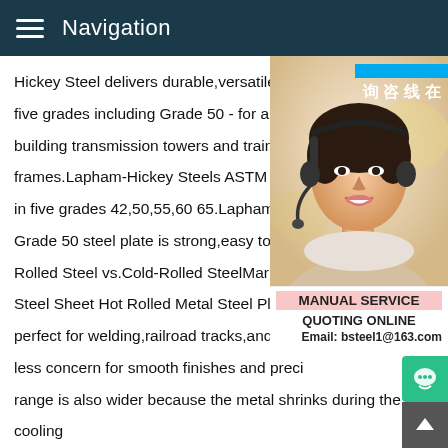Navigation
Hickey Steel delivers durable,versatile AS five grades including Grade 50 - for a wide building transmission towers and train cars frames.Lapham-Hickey Steels ASTM A572 in five grades 42,50,55,60 65.Lapham-Hic Grade 50 steel plate is strong,easy to form Rolled Steel vs.Cold-Rolled SteelMar 27,2 Steel Sheet Hot Rolled Metal Steel Plate# perfect for welding,railroad tracks,and I-be less concern for smooth finishes and preci range is also wider because the metal shrinks during the cooling process,so you can't be as exact with the measurements.Hot Rolled Steel Sheet,Pickled and Oiled Steel Products Hot Rolled Pickled and Oiled hot rolled coil or sheet steel that has been descaled of oxide film by either a chemical method,mechanical method,or a combination of both and oiled to help retard corro
[Figure (photo): Customer service representative wearing headset, smiling, with Chinese text badge '在线咨询' (Online Consultation) in blue on the right side]
MANUAL SERVICE
QUOTING ONLINE
Email: bsteel1@163.com